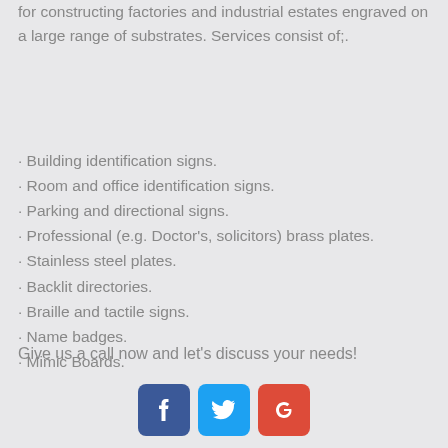for constructing factories and industrial estates engraved on a large range of substrates. Services consist of;.
Building identification signs.
Room and office identification signs.
Parking and directional signs.
Professional (e.g. Doctor's, solicitors) brass plates.
Stainless steel plates.
Backlit directories.
Braille and tactile signs.
Name badges.
Mimic Boards.
Give us a call now and let's discuss your needs!
[Figure (other): Social media icons: Facebook, Twitter, Google+]